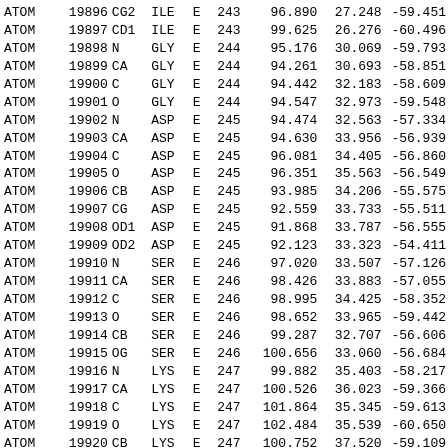| Record | Serial | Name | ResName | Chain | ResSeq | X | Y | Z |
| --- | --- | --- | --- | --- | --- | --- | --- | --- |
| ATOM | 19896 | CG2 | ILE | E | 243 | 96.890 | 27.248 | -59.451 |
| ATOM | 19897 | CD1 | ILE | E | 243 | 99.625 | 26.276 | -60.496 |
| ATOM | 19898 | N | GLY | E | 244 | 95.176 | 30.069 | -59.793 |
| ATOM | 19899 | CA | GLY | E | 244 | 94.261 | 30.693 | -58.851 |
| ATOM | 19900 | C | GLY | E | 244 | 94.442 | 32.183 | -58.609 |
| ATOM | 19901 | O | GLY | E | 244 | 94.547 | 32.973 | -59.548 |
| ATOM | 19902 | N | ASP | E | 245 | 94.474 | 32.563 | -57.334 |
| ATOM | 19903 | CA | ASP | E | 245 | 94.630 | 33.956 | -56.939 |
| ATOM | 19904 | C | ASP | E | 245 | 96.081 | 34.405 | -56.860 |
| ATOM | 19905 | O | ASP | E | 245 | 96.351 | 35.563 | -56.549 |
| ATOM | 19906 | CB | ASP | E | 245 | 93.985 | 34.206 | -55.575 |
| ATOM | 19907 | CG | ASP | E | 245 | 92.559 | 33.733 | -55.511 |
| ATOM | 19908 | OD1 | ASP | E | 245 | 91.868 | 33.787 | -56.555 |
| ATOM | 19909 | OD2 | ASP | E | 245 | 92.123 | 33.323 | -54.411 |
| ATOM | 19910 | N | SER | E | 246 | 97.020 | 33.507 | -57.126 |
| ATOM | 19911 | CA | SER | E | 246 | 98.426 | 33.883 | -57.055 |
| ATOM | 19912 | C | SER | E | 246 | 98.995 | 34.425 | -58.352 |
| ATOM | 19913 | O | SER | E | 246 | 98.652 | 33.965 | -59.442 |
| ATOM | 19914 | CB | SER | E | 246 | 99.287 | 32.707 | -56.606 |
| ATOM | 19915 | OG | SER | E | 246 | 100.656 | 33.060 | -56.684 |
| ATOM | 19916 | N | LYS | E | 247 | 99.882 | 35.403 | -58.217 |
| ATOM | 19917 | CA | LYS | E | 247 | 100.526 | 36.023 | -59.366 |
| ATOM | 19918 | C | LYS | E | 247 | 101.864 | 35.345 | -59.613 |
| ATOM | 19919 | O | LYS | E | 247 | 102.484 | 35.539 | -60.650 |
| ATOM | 19920 | CB | LYS | E | 247 | 100.752 | 37.520 | -59.109 |
| ATOM | 19921 | CG | LYS | E | 247 | 99.516 | 38.282 | -58.601 |
| ATOM | 19922 | CD | LYS | E | 247 | 98.328 | 38.202 | -59.563 |
| ATOM | 19923 | CE | LYS | E | 247 | 97.102 | 38.919 | -58.987 |
| ATOM | 19924 | NZ | LYS | E | 247 | 97.370 | 40.359 | -58.660 |
| ATOM | 19925 | N | VAL | E | 248 | 102.301 | 34.543 | -58.650 |